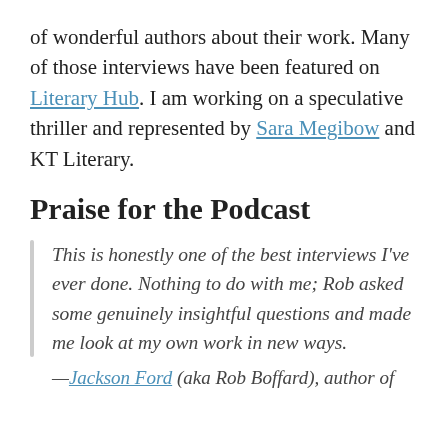of wonderful authors about their work. Many of those interviews have been featured on Literary Hub. I am working on a speculative thriller and represented by Sara Megibow and KT Literary.
Praise for the Podcast
This is honestly one of the best interviews I've ever done. Nothing to do with me; Rob asked some genuinely insightful questions and made me look at my own work in new ways.
—Jackson Ford (aka Rob Boffard), author of